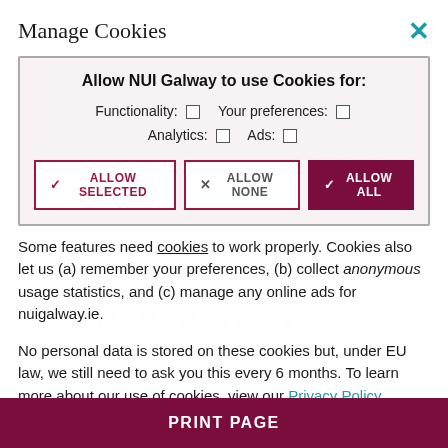Manage Cookies
Allow NUI Galway to use Cookies for:
Functionality: ☐  Your preferences: ☐
Analytics: ☐  Ads: ☐
[ALLOW SELECTED]  [ALLOW NONE]  [ALLOW ALL]
Some features need cookies to work properly. Cookies also let us (a) remember your preferences, (b) collect anonymous usage statistics, and (c) manage any online ads for nuigalway.ie.
No personal data is stored on these cookies but, under EU law, we still need to ask you this every 6 months. To learn more about our use of cookies, view our Privacy Policy.
PRINT PAGE